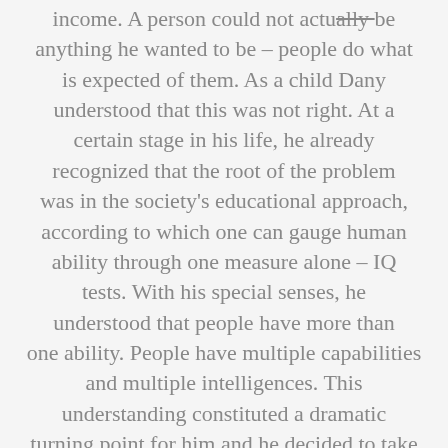income. A person could not actually be anything he wanted to be – people do what is expected of them. As a child Dany understood that this was not right. At a certain stage in his life, he already recognized that the root of the problem was in the society's educational approach, according to which one can gauge human ability through one measure alone – IQ tests. With his special senses, he understood that people have more than one ability. People have multiple capabilities and multiple intelligences. This understanding constituted a dramatic turning point for him and he decided to take it upon himself to investigate the 32 human